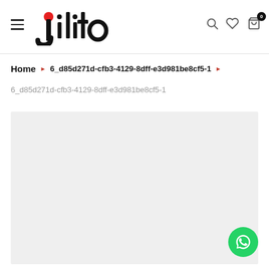Jilito — navigation header with hamburger menu, logo, search, wishlist, cart (0)
Home › 6_d85d271d-cfb3-4129-8dff-e3d981be8cf5-1 › 6_d85d271d-cfb3-4129-8dff-e3d981be8cf5-1
6_d85d271d-cfb3-4129-8dff-e3d981be8cf5-1
[Figure (photo): Light gray product image placeholder area]